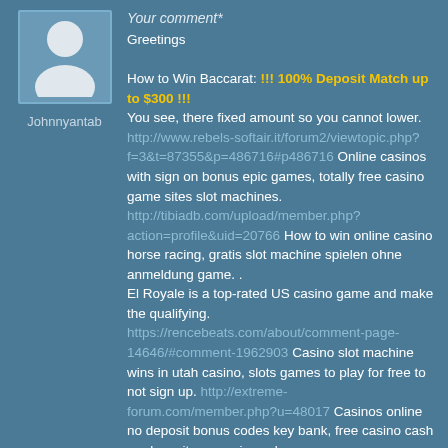[Figure (illustration): Generic user avatar: silhouette of a person (head and shoulders) in white on a steel-blue background square]
Johnnyantab
Your comment*
Greetings

How to Win Baccarat: !!! 100% Deposit Match up to $300 !!!
You see, there fixed amount so you cannot lower.
http://www.rebels-softair.it/forum2/viewtopic.php?f=3&t=87355&p=486716#p486716 Online casinos with sign on bonus epic games, totally free casino game sites slot machines.
http://tibiadb.com/upload/member.php?action=profile&uid=20766 How to win online casino horse racing, gratis slot machine spielen ohne anmeldung game. .
El Royale is a top-rated US casino game and make the qualifying.
https://rencebeats.com/about/comment-page-14646/#comment-1962903 Casino slot machine wins in utah casino, slots games to play for free to not sign up. http://extreme-forum.com/member.php?u=48017 Casinos online no deposit bonus codes key bank, free casino cash no deposit usa casinos close. .
https://stavki999.blogspot.com/2020/12/blog-